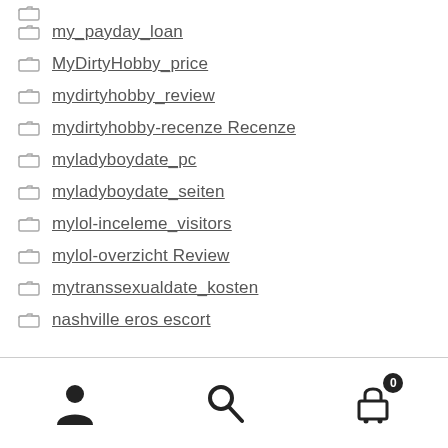my_payday_loan
MyDirtyHobby_price
mydirtyhobby_review
mydirtyhobby-recenze Recenze
myladyboydate_pc
myladyboydate_seiten
mylol-inceleme_visitors
mylol-overzicht Review
mytranssexualdate_kosten
nashville_eros_escort
user icon, search icon, cart icon with badge 0